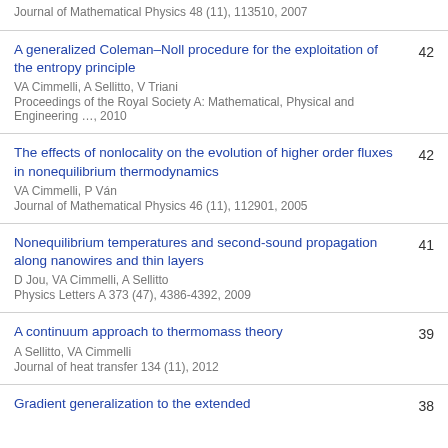Journal of Mathematical Physics 48 (11), 113510, 2007
A generalized Coleman–Noll procedure for the exploitation of the entropy principle | VA Cimmelli, A Sellitto, V Triani | Proceedings of the Royal Society A: Mathematical, Physical and Engineering …, 2010 | 42
The effects of nonlocality on the evolution of higher order fluxes in nonequilibrium thermodynamics | VA Cimmelli, P Ván | Journal of Mathematical Physics 46 (11), 112901, 2005 | 42
Nonequilibrium temperatures and second-sound propagation along nanowires and thin layers | D Jou, VA Cimmelli, A Sellitto | Physics Letters A 373 (47), 4386-4392, 2009 | 41
A continuum approach to thermomass theory | A Sellitto, VA Cimmelli | Journal of heat transfer 134 (11), 2012 | 39
Gradient generalization to the extended…| 38